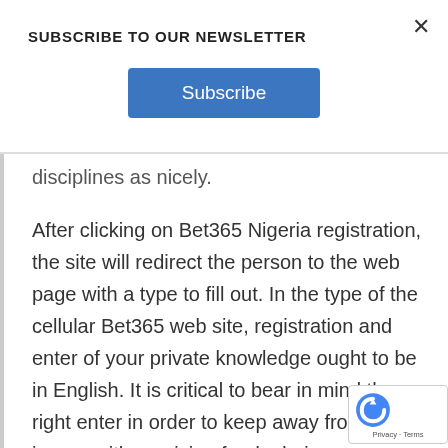SUBSCRIBE TO OUR NEWSLETTER
Subscribe
disciplines as nicely.
After clicking on Bet365 Nigeria registration, the site will redirect the person to the web page with a type to fill out. In the type of the cellular Bet365 web site, registration and enter of your private knowledge ought to be in English. It is critical to bear in mind the right enter in order to keep away from issues with receiving funds during withdrawal. The Bet365 bookmaker began its work in the 2000s, a year later an interactive portal on